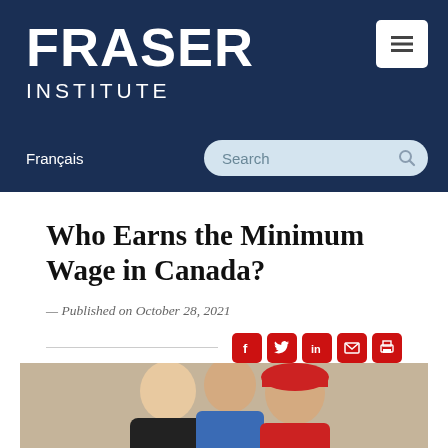[Figure (logo): Fraser Institute logo — white text on dark navy background, with FRASER in large bold letters and INSTITUTE below in smaller spaced letters]
Français
Who Earns the Minimum Wage in Canada?
— Published on October 28, 2021
[Figure (photo): Three young workers smiling, including a woman in a black apron, a man in a blue shirt with green apron, and a man in a red uniform and red cap, posed against a beige background]